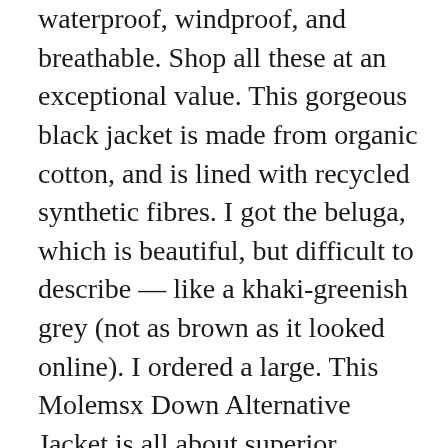waterproof, windproof, and breathable. Shop all these at an exceptional value. This gorgeous black jacket is made from organic cotton, and is lined with recycled synthetic fibres. I got the beluga, which is beautiful, but difficult to describe — like a khaki-greenish grey (not as brown as it looked online). I ordered a large. This Molemsx Down Alternative Jacket is all about superior warmth without sacrificing a stylish fit. The sleeves are nicely lined so you don't have to worry about your torso being the only warm thing if you're like me and can't regulate heat in your extremities. Founded in 1978, Noize offers accessible and stylish outerwear for men and women, 100% free of animal by-products. Their ethical credentials